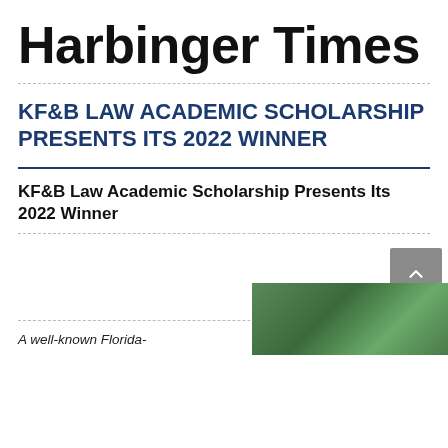Harbinger Times
KF&B LAW ACADEMIC SCHOLARSHIP PRESENTS ITS 2022 WINNER
KF&B Law Academic Scholarship Presents Its 2022 Winner
A well-known Florida-
[Figure (photo): Outdoor photo with green foliage/trees in background]